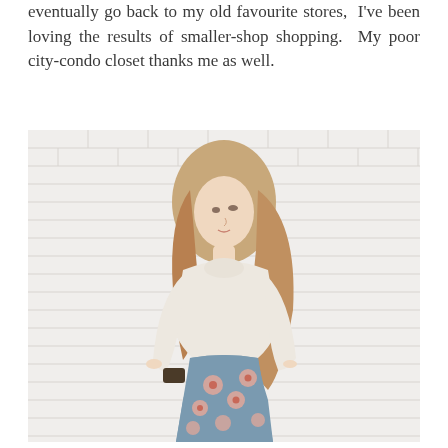eventually go back to my old favourite stores,  I've been loving the results of smaller-shop shopping.  My poor city-condo closet thanks me as well.
[Figure (photo): A young woman with long wavy blonde-brown hair stands against a white brick wall. She wears a cream turtleneck long-sleeve top and a blue floral midi skirt with pink roses. She holds a small dark clutch and looks to her left.]